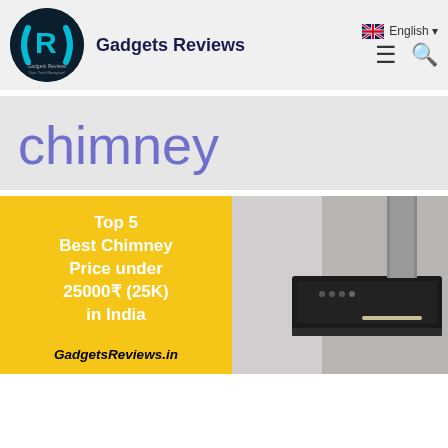Gadgets Reviews
chimney
[Figure (illustration): Article card with yellow left panel showing 'Top 5 Best Chimney Price under 25000₹ (25K) in India' and right panel showing a photo of a kitchen chimney appliance. Bottom text: GadgetsReviews.in]